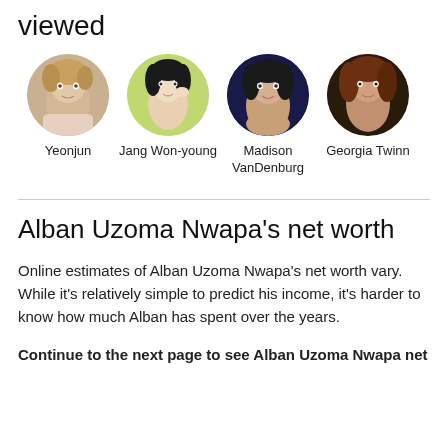viewed
[Figure (photo): Four circular profile photos in a row: Yeonjun (Asian male with light brown hair), Jang Won-young (Asian female with dark hair), Madison VanDenburg (female with dark hair against blue background), Georgia Twinn (female with reddish-brown hair in dark setting), each with a name label below.]
Online estimates of Alban Uzoma Nwapa’s net worth vary. While it’s relatively simple to predict his income, it’s harder to know how much Alban has spent over the years.
Alban Uzoma Nwapa’s net worth
Continue to the next page to see Alban Uzoma Nwapa net